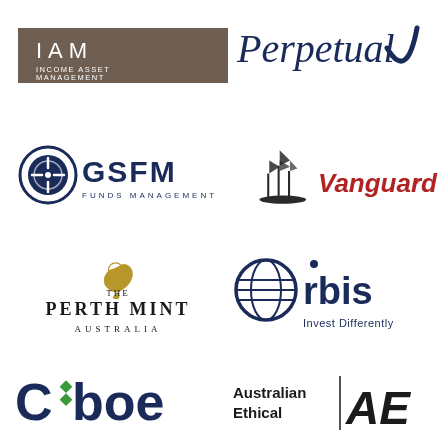[Figure (logo): IAM Income Asset Management logo - dark brown/taupe rectangular background with white text]
[Figure (logo): Perpetual logo - dark navy serif text with decorative script flourish]
[Figure (logo): GSFM Funds Management logo - navy compass-like icon with navy text]
[Figure (logo): Vanguard logo - tall ship illustration with red bold Vanguard text]
[Figure (logo): The Perth Mint Australia logo - gold swan icon with black text]
[Figure (logo): Orbis Invest Differently logo - navy globe icon with navy text and tagline]
[Figure (logo): Cboe logo - navy C with green diamond dots and bold text]
[Figure (logo): Australian Ethical AE logo - text with stylized AE monogram and dividing line]